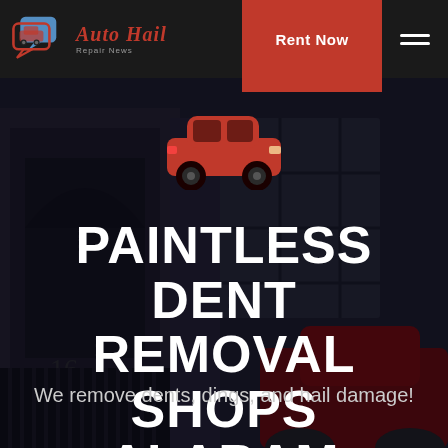Auto Hail Repair News — Rent Now
[Figure (illustration): Red car icon silhouette centered on hero background]
PAINTLESS DENT REMOVAL SHOPS ALABAM ARKANSAS
We remove dents, dings, and hail damage!